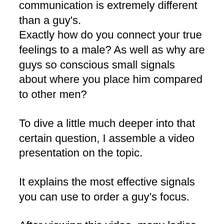communication is extremely different than a guy's. Exactly how do you connect your true feelings to a male? As well as why are guys so conscious small signals about where you place him compared to other men?
To dive a little much deeper into that certain question, I assemble a video presentation on the topic.
It explains the most effective signals you can use to order a guy’s focus.
After viewing this video, many ladies are surprised to find out how much control they have more than a guy’s self-esteem.